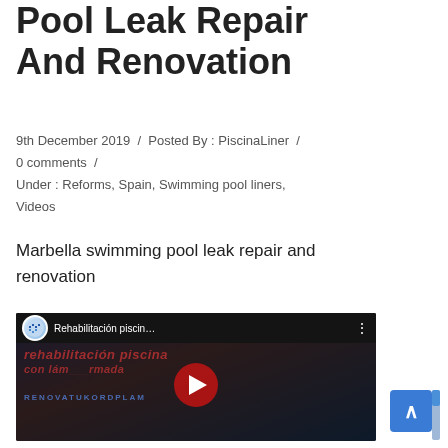Pool Leak Repair And Renovation
9th December 2019  /  Posted By : PiscinaLiner  /  0 comments  /  Under : Reforms, Spain, Swimming pool liners, Videos
Marbella swimming pool leak repair and renovation
[Figure (screenshot): YouTube video thumbnail showing 'Rehabilitación piscin...' with a play button overlay on a dark background with Spanish text about pool renovation with liner.]